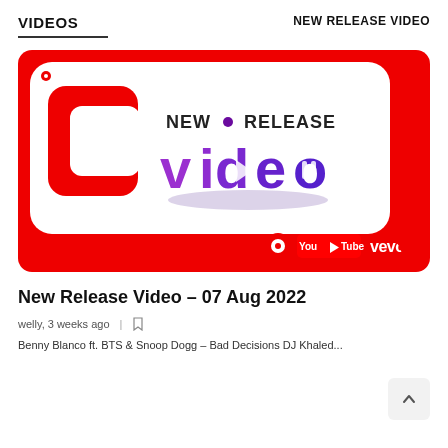VIDEOS    NEW RELEASE VIDEO
[Figure (logo): New Release Video logo on red background with YouTube and Vevo branding]
New Release Video – 07 Aug 2022
welly, 3 weeks ago
Benny Blanco ft. BTS & Snoop Dogg – Bad Decisions DJ Khaled...